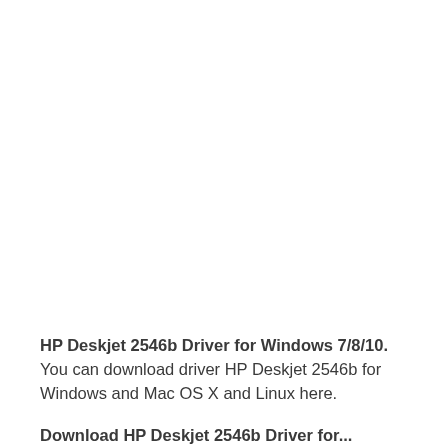HP Deskjet 2546b Driver for Windows 7/8/10. You can download driver HP Deskjet 2546b for Windows and Mac OS X and Linux here.
Download HP Deskjet 2546b Driver for...